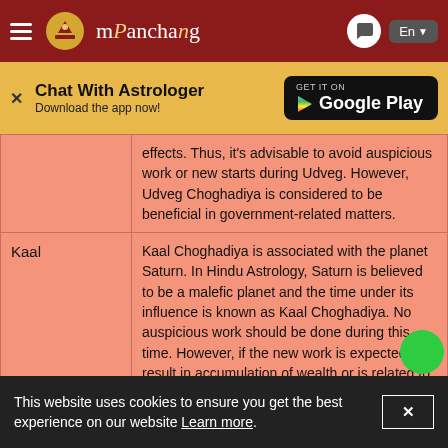mPanchang
Chat With Astrologer
Download the app now!
GET IT ON Google Play
|  |  |
| --- | --- |
|  | effects. Thus, it's advisable to avoid auspicious work or new starts during Udveg. However, Udveg Choghadiya is considered to be beneficial in government-related matters. |
| Kaal | Kaal Choghadiya is associated with the planet Saturn. In Hindu Astrology, Saturn is believed to be a malefic planet and the time under its influence is known as Kaal Choghadiya. No auspicious work should be done during this time. However, if the new work is expected to result in accumulation of wealth or is related to the same, it can be performed during this time. |
This website uses cookies to ensure you get the best experience on our website Learn more.